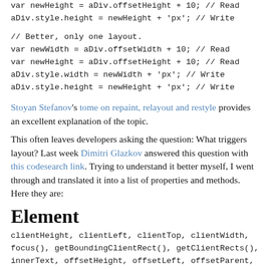var newHeight = aDiv.offsetHeight + 10; // Read
aDiv.style.height = newHeight + 'px'; // Write
// Better, only one layout.
var newWidth = aDiv.offsetWidth + 10; // Read
var newHeight = aDiv.offsetHeight + 10; // Read
aDiv.style.width = newWidth + 'px'; // Write
aDiv.style.height = newHeight + 'px'; // Write
Stoyan Stefanov's tome on repaint, relayout and restyle provides an excellent explanation of the topic.
This often leaves developers asking the question: What triggers layout? Last week Dimitri Glazkov answered this question with this codesearch link. Trying to understand it better myself, I went through and translated it into a list of properties and methods. Here they are:
Element
clientHeight, clientLeft, clientTop, clientWidth, focus(), getBoundingClientRect(), getClientRects(), innerText, offsetHeight, offsetLeft, offsetParent, offsetTop, offsetWidth, outerText, scrollByLines()